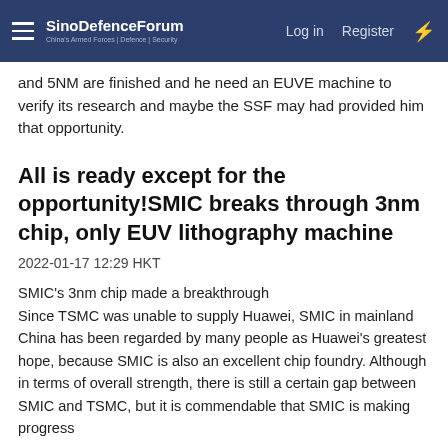SinoDefenceForum — Log in  Register
and 5NM are finished and he need an EUVE machine to verify its research and maybe the SSF may had provided him that opportunity.
All is ready except for the opportunity!SMIC breaks through 3nm chip, only EUV lithography machine
2022-01-17 12:29 HKT
SMIC's 3nm chip made a breakthrough
Since TSMC was unable to supply Huawei, SMIC in mainland China has been regarded by many people as Huawei's greatest hope, because SMIC is also an excellent chip foundry. Although in terms of overall strength, there is still a certain gap between SMIC and TSMC, but it is commendable that SMIC is making progress